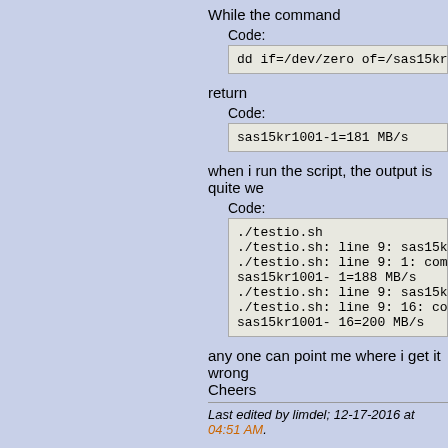While the command
Code:
dd if=/dev/zero of=/sas15kr10
return
Code:
sas15kr1001-1=181 MB/s
when i run the script, the output is quite we
Code:
./testio.sh
./testio.sh: line 9: sas15kr1
./testio.sh: line 9: 1: comma
sas15kr1001- 1=188 MB/s
./testio.sh: line 9: sas15kr1
./testio.sh: line 9: 16: comm
sas15kr1001- 16=200 MB/s
any one can point me where i get it wrong
Cheers
Last edited by limdel; 12-17-2016 at 04:51 AM.